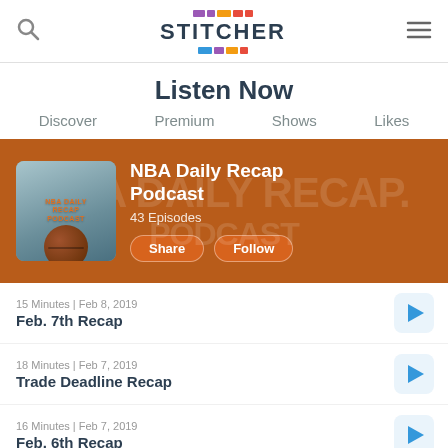[Figure (logo): Stitcher app logo with colored block icons above and below the word STITCHER]
Listen Now
Discover
Premium
Shows
Likes
[Figure (screenshot): NBA Daily Recap Podcast banner with artwork thumbnail, title, 43 Episodes, Share and Follow buttons on brown/orange background]
15 Minutes | Feb 8, 2019
Feb. 7th Recap
18 Minutes | Feb 7, 2019
Trade Deadline Recap
16 Minutes | Feb 7, 2019
Feb. 6th Recap
18 Minutes | Feb 6, 2019